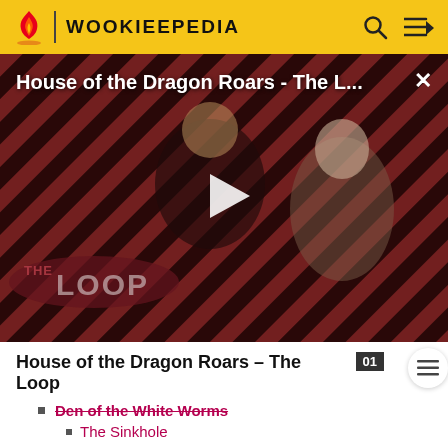WOOKIEEPEDIA
[Figure (screenshot): Video thumbnail for 'House of the Dragon Roars - The L...' with a play button overlay, two characters visible, and 'THE LOOP' branding in the lower left. Background has diagonal red and black stripes.]
House of the Dragon Roars - The Loop
Den of the White Worms
The Sinkhole
Silo
Qi'ra's safe house
Dathomir